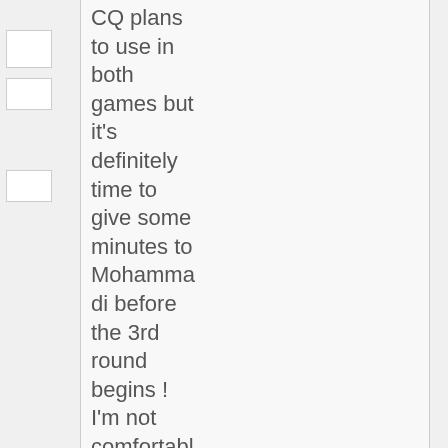CQ plans to use in both games but it's definitely time to give some minutes to Mohammadi before the 3rd round begins ! I'm not comfortable with Hajsafi being our LB vs good or decent teams like Korea,